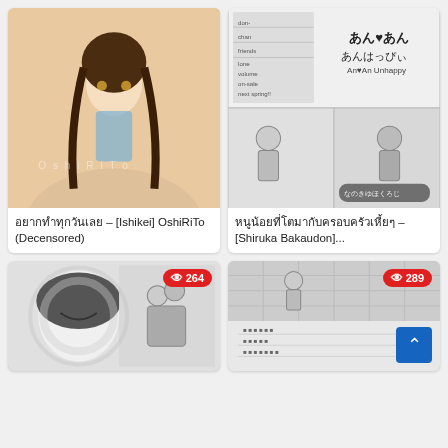[Figure (illustration): Anime illustration of a young female character with brown hair and yellow eyes, partially undressed, watermark 'OshiRiTo']
อยากทำทุกวันเลย – [Ishikei] OshiRiTo (Decensored)
[Figure (illustration): Manga page spread showing 'An An Unhappy' title and manga panels with characters]
หนูน้อยที่โตมากับครอบครัวเหี้ยๆ – [Shiruka Bakaudon]...
[Figure (illustration): Manga panel showing a smiling female character, view count badge: 264]
[Figure (illustration): Manga panel showing characters, view count badge: 289, scroll-to-top button]